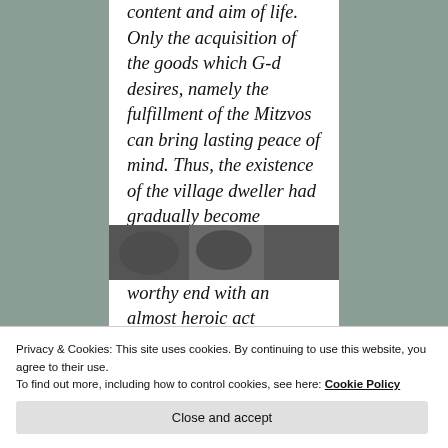content and aim of life. Only the acquisition of the goods which G-d desires, namely the fulfillment of the Mitzvos can bring lasting peace of mind. Thus, the existence of the village dweller had gradually become enriched and ennobled, until his life drew to a worthy end with an almost heroic act
[Figure (photo): A black and white photograph strip at the bottom of the content area]
Privacy & Cookies: This site uses cookies. By continuing to use this website, you agree to their use.
To find out more, including how to control cookies, see here: Cookie Policy